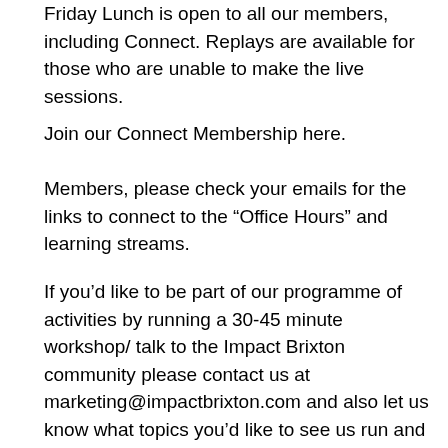Friday Lunch is open to all our members, including Connect. Replays are available for those who are unable to make the live sessions.
Join our Connect Membership here.
Members, please check your emails for the links to connect to the “Office Hours” and learning streams.
If you’d like to be part of our programme of activities by running a 30-45 minute workshop/ talk to the Impact Brixton community please contact us at marketing@impactbrixton.com and also let us know what topics you’d like to see us run and we’ll do our best to fulfil your requests.